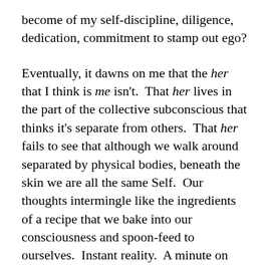become of my self-discipline, diligence, dedication, commitment to stamp out ego?
Eventually, it dawns on me that the her that I think is me isn't. That her lives in the part of the collective subconscious that thinks it's separate from others. That her fails to see that although we walk around separated by physical bodies, beneath the skin we are all the same Self. Our thoughts intermingle like the ingredients of a recipe that we bake into our consciousness and spoon-feed to ourselves. Instant reality. A minute on the lips, forever on the hips.
As I sit in my lazygirl trying to figure out where